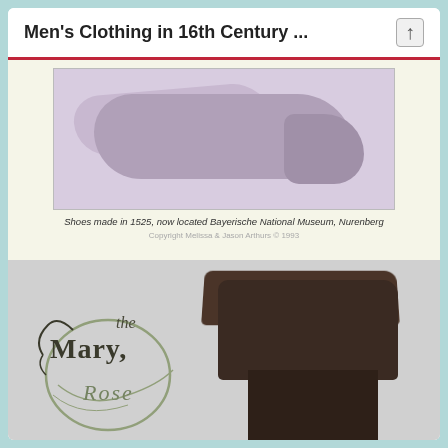Men's Clothing in 16th Century ...
[Figure (photo): Historic shoes made in 1525, displayed against a cream/yellow background]
Shoes made in 1525, now located Bayerische National Museum, Nurenberg
[Figure (photo): A dark brown leather boot from the 16th century, tall with a folded cuff at the top, with The Mary Rose museum logo/watermark overlaid on the left side]